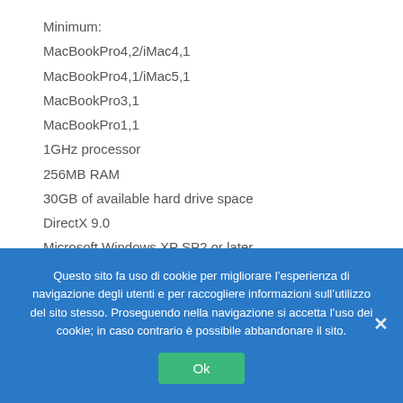Minimum:
MacBookPro4,2/iMac4,1
MacBookPro4,1/iMac5,1
MacBookPro3,1
MacBookPro1,1
1GHz processor
256MB RAM
30GB of available hard drive space
DirectX 9.0
Microsoft Windows XP SP2 or later
CD-ROM drive
Model Macintosh OS X Server Versions:
Questo sito fa uso di cookie per migliorare l’esperienza di navigazione degli utenti e per raccogliere informazioni sull’utilizzo del sito stesso. Proseguendo nella navigazione si accetta l’uso dei cookie; in caso contrario è possibile abbandonare il sito.